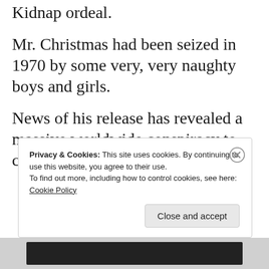Kidnap ordeal.
Mr. Christmas had been seized in 1970 by some very, very naughty boys and girls.
News of his release has revealed a massive worldwide conspiracy to conceal the fate of the man
Privacy & Cookies: This site uses cookies. By continuing to use this website, you agree to their use.
To find out more, including how to control cookies, see here: Cookie Policy
Close and accept